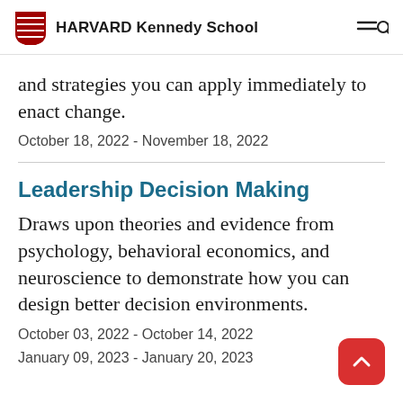HARVARD Kennedy School
and strategies you can apply immediately to enact change.
October 18, 2022 - November 18, 2022
Leadership Decision Making
Draws upon theories and evidence from psychology, behavioral economics, and neuroscience to demonstrate how you can design better decision environments.
October 03, 2022 - October 14, 2022
January 09, 2023 - January 20, 2023